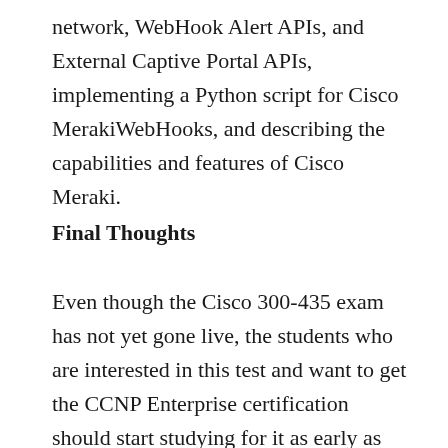network, WebHook Alert APIs, and External Captive Portal APIs, implementing a Python script for Cisco MerakiWebHooks, and describing the capabilities and features of Cisco Meraki.
Final Thoughts
Even though the Cisco 300-435 exam has not yet gone live, the students who are interested in this test and want to get the CCNP Enterprise certification should start studying for it as early as possible. Despite the fact that this is a new exam, Exam-Labsis doing everything possible to ensure